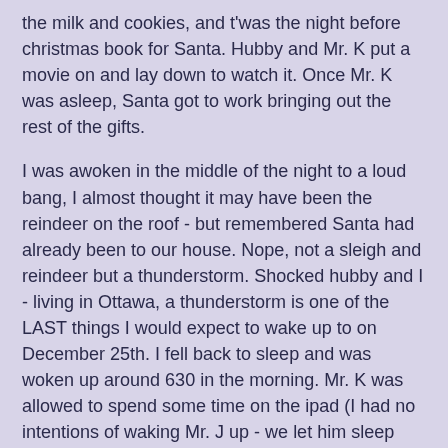the milk and cookies, and t'was the night before christmas book for Santa.  Hubby and Mr. K put a movie on and lay down to watch it.  Once Mr. K was asleep, Santa got to work bringing out the rest of the gifts.
I was awoken in the middle of the night to a loud bang, I almost thought it may have been the reindeer on the roof - but remembered Santa had already been to our house.  Nope, not a sleigh and reindeer but a thunderstorm.  Shocked hubby and I - living in Ottawa, a thunderstorm is one of the LAST things I would expect to wake up to on December 25th.  I fell back to sleep and was woken up around 630 in the morning.  Mr. K was allowed to spend some time on the ipad (I had no intentions of waking Mr. J up - we let him sleep until he woke himself, around 745am).  We all made our way down to the family room to see what Santa had left (and in all the excitement, I forgot to take pictures).
Once the gifts were opened, we had a delicious breakfast (fresh baked croissants, fruit, scrambled eggs, bacon and orange juice).  The kids ate a little, but were anxious to play with their new toys.  Mr. J and hubby got to work on one of